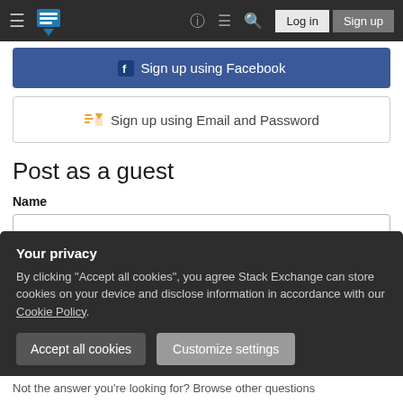Stack Exchange navigation bar with Log in and Sign up buttons
[Figure (screenshot): Sign up using Facebook button — blue background with Facebook icon]
[Figure (screenshot): Sign up using Email and Password button — white background with Stack Exchange icon]
Post as a guest
Name
Email
Required, but never shown
Your privacy
By clicking "Accept all cookies", you agree Stack Exchange can store cookies on your device and disclose information in accordance with our Cookie Policy.
Accept all cookies
Customize settings
Not the answer you're looking for? Browse other questions